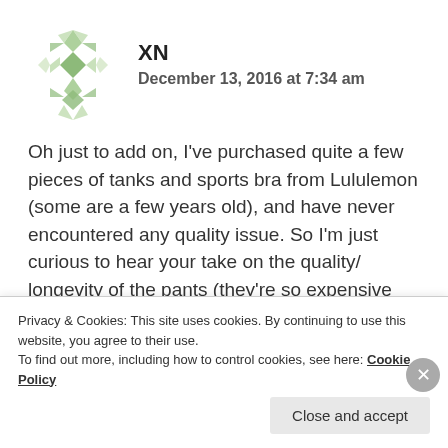[Figure (illustration): Green geometric snowflake/diamond pattern avatar icon]
XN
December 13, 2016 at 7:34 am
Oh just to add on, I've purchased quite a few pieces of tanks and sports bra from Lululemon (some are a few years old), and have never encountered any quality issue. So I'm just curious to hear your take on the quality/ longevity of the pants (they're so expensive haha). Thanks!!
★ Like
Privacy & Cookies: This site uses cookies. By continuing to use this website, you agree to their use.
To find out more, including how to control cookies, see here: Cookie Policy
Close and accept